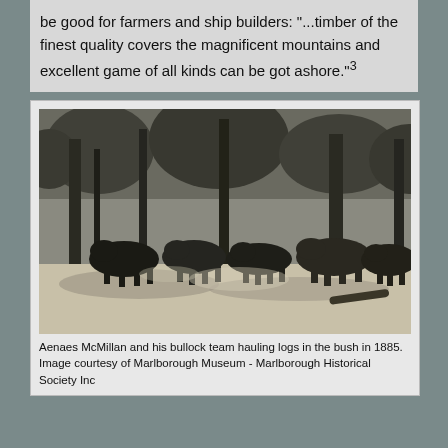be good for farmers and ship builders: "...timber of the finest quality covers the magnificent mountains and excellent game of all kinds can be got ashore."³
[Figure (photo): Black and white historical photograph of Aenaes McMillan and his bullock team hauling logs in the bush in 1885. Shows multiple bullocks/cattle in a forested clearing with tall trees in the background.]
Aenaes McMillan and his bullock team hauling logs in the bush in 1885. Image courtesy of Marlborough Museum - Marlborough Historical Society Inc